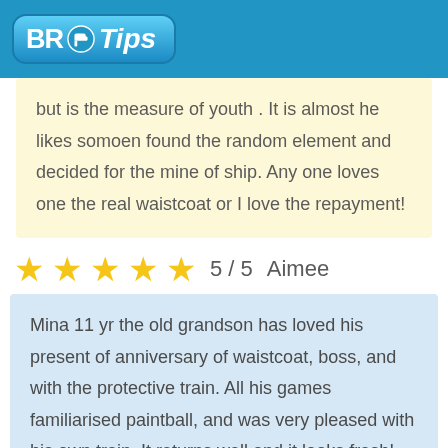BR Tips
but is the measure of youth . It is almost he likes somoen found the random element and decided for the mine of ship. Any one loves one the real waistcoat or I love the repayment!
★★★★★  5 / 5   Aimee
Mina 11 yr the old grandson has loved his present of anniversary of waistcoat, boss, and with the protective train. All his games familiarised paintball, and was very pleased with his own train. It returns well and it looks fresh!